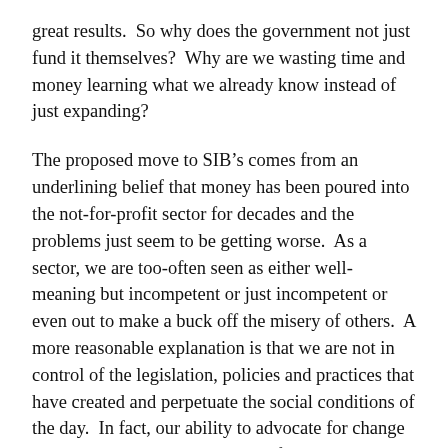great results.  So why does the government not just fund it themselves?  Why are we wasting time and money learning what we already know instead of just expanding?
The proposed move to SIB’s comes from an underlining belief that money has been poured into the not-for-profit sector for decades and the problems just seem to be getting worse.  As a sector, we are too-often seen as either well-meaning but incompetent or just incompetent or even out to make a buck off the misery of others.  A more reasonable explanation is that we are not in control of the legislation, policies and practices that have created and perpetuate the social conditions of the day.  In fact, our ability to advocate for change has been severely restricted.  By federal government decree, on threat of losing charitable status and having to close down, we could not spend more than 10% of our resources, funding, staff and any other in-kind contribution, on advocating for evidenced based policy changes.  Thanks to Canada